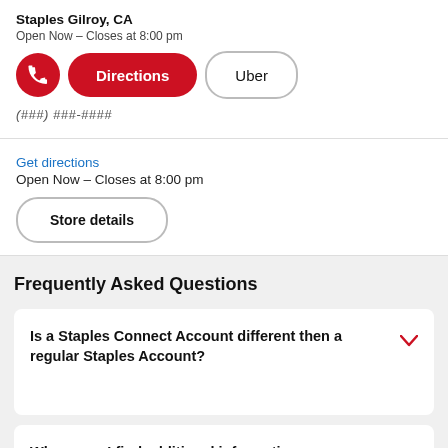Staples Gilroy, CA
Open Now – Closes at 8:00 pm
[Figure (screenshot): UI buttons row: red phone icon button, red Directions button, outlined Uber button]
(###) ###-####
Get directions
Open Now – Closes at 8:00 pm
Store details
Frequently Asked Questions
Is a Staples Connect Account different then a regular Staples Account?
Where can I find additional information on Classroom Rewards?